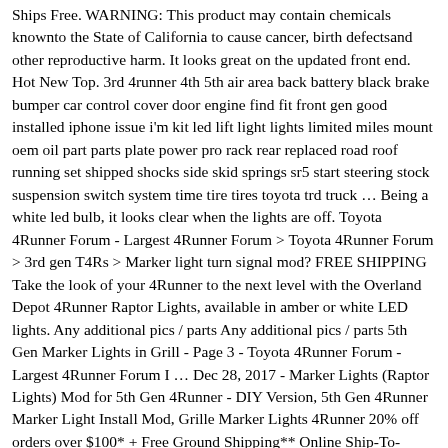Ships Free. WARNING: This product may contain chemicals knownto the State of California to cause cancer, birth defectsand other reproductive harm. It looks great on the updated front end. Hot New Top. 3rd 4runner 4th 5th air area back battery black brake bumper car control cover door engine find fit front gen good installed iphone issue i'm kit led lift light lights limited miles mount oem oil part parts plate power pro rack rear replaced road roof running set shipped shocks side skid springs sr5 start steering stock suspension switch system time tire tires toyota trd truck … Being a white led bulb, it looks clear when the lights are off. Toyota 4Runner Forum - Largest 4Runner Forum > Toyota 4Runner Forum > 3rd gen T4Rs > Marker light turn signal mod? FREE SHIPPING Take the look of your 4Runner to the next level with the Overland Depot 4Runner Raptor Lights, available in amber or white LED lights. Any additional pics / parts Any additional pics / parts 5th Gen Marker Lights in Grill - Page 3 - Toyota 4Runner Forum - Largest 4Runner Forum I … Dec 28, 2017 - Marker Lights (Raptor Lights) Mod for 5th Gen 4Runner - DIY Version, 5th Gen 4Runner Marker Light Install Mod, Grille Marker Lights 4Runner 20% off orders over $100* + Free Ground Shipping** Online Ship-To-Home Items Only. I don't keep i Marker Lights 5th Gen 4runner 4runner Marker Lights Install Custom Toyota 4runner Images Mods Photos Upgrades Carid Com Toyota 4runner 2010 Gta Mod Enb 60 Fps Gameplay Youtube Rig Write Up Toyota 4runner Trd Pro Scout Of Mind ... My 4th And 5th Gen 4runner Mods 4runnerfamily Com Posts: 179